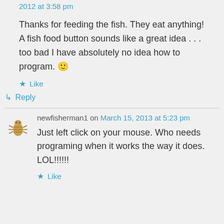2012 at 3:58 pm
Thanks for feeding the fish. They eat anything! A fish food button sounds like a great idea . . . too bad I have absolutely no idea how to program. 🙂
★ Like
↳ Reply
newfisherman1 on March 15, 2013 at 5:23 pm
Just left click on your mouse. Who needs programing when it works the way it does. LOL!!!!!!
★ Like